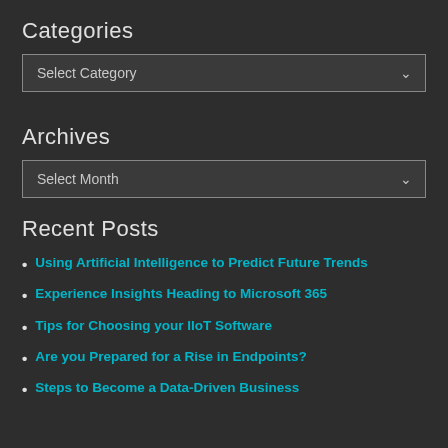Categories
Select Category
Archives
Select Month
Recent Posts
Using Artificial Intelligence to Predict Future Trends
Experience Insights Heading to Microsoft 365
Tips for Choosing your IIoT Software
Are you Prepared for a Rise in Endpoints?
Steps to Become a Data-Driven Business